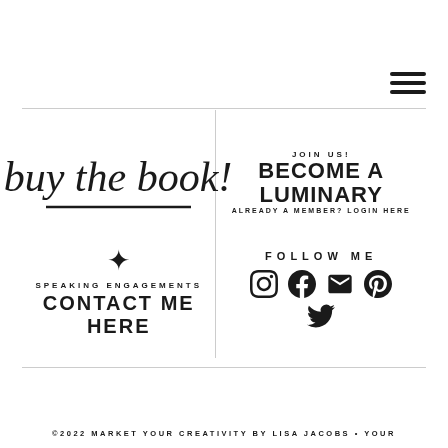[Figure (illustration): Hamburger menu icon (three horizontal lines) in top right corner]
[Figure (illustration): Handwritten script text 'buy the book!' with underline stroke]
[Figure (illustration): Star symbol above speaking engagements section]
SPEAKING ENGAGEMENTS
CONTACT ME HERE
JOIN US!
BECOME A LUMINARY
ALREADY A MEMBER? LOGIN HERE
FOLLOW ME
[Figure (illustration): Social media icons: Instagram, Facebook, Mail, Pinterest, Twitter]
©2022 MARKET YOUR CREATIVITY BY LISA JACOBS • YOUR